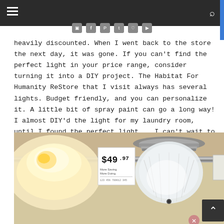navigation header with hamburger menu and search icon
heavily discounted. When I went back to the store the next day, it was gone. If you can't find the perfect light in your price range, consider turning it into a DIY project. The Habitat For Humanity ReStore that I visit always has several lights. Budget friendly, and you can personalize it. A little bit of spray paint can go a long way! I almost DIY'd the light for my laundry room, until I found the perfect light... I can't wait to show it off soon.
[Figure (photo): Photo of ceiling light fixtures displayed in a store (likely Habitat for Humanity ReStore), showing a glowing bowl-shaped lamp on the left and a flush-mount frosted glass ceiling light on the right, with a price tag showing $49.97 and a store track rail running across the top.]